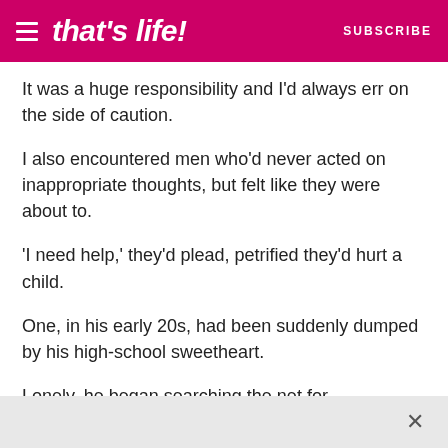that's life! SUBSCRIBE
It was a huge responsibility and I'd always err on the side of caution.
I also encountered men who'd never acted on inappropriate thoughts, but felt like they were about to.
'I need help,' they'd plead, petrified they'd hurt a child.
One, in his early 20s, had been suddenly dumped by his high-school sweetheart.
Lonely, he began searching the net for pornography and gradually looked at more and more obscene material.
Driving home one day, he pulled over and found himself